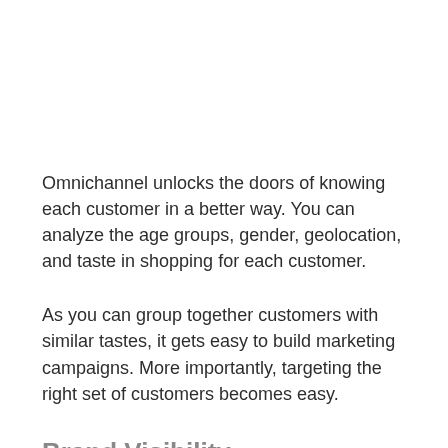Omnichannel unlocks the doors of knowing each customer in a better way. You can analyze the age groups, gender, geolocation, and taste in shopping for each customer.
As you can group together customers with similar tastes, it gets easy to build marketing campaigns. More importantly, targeting the right set of customers becomes easy.
Brand Visibility